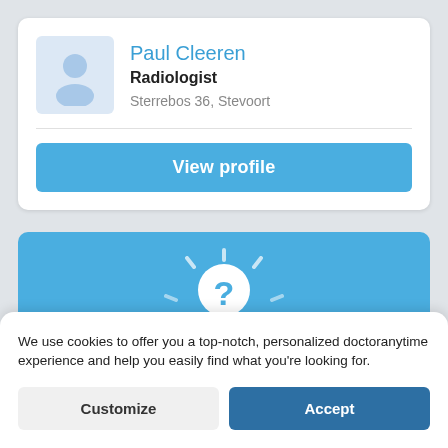Paul Cleeren
Radiologist
Sterrebos 36, Stevoort
View profile
[Figure (illustration): Blue card with white doctor silhouette icon featuring a question mark head, with radiating dash lines suggesting uncertainty or search]
We use cookies to offer you a top-notch, personalized doctoranytime experience and help you easily find what you're looking for.
Customize
Accept